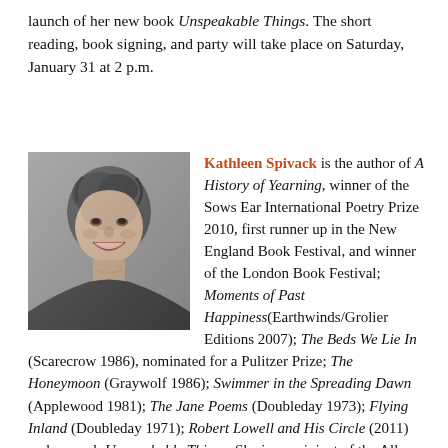launch of her new book Unspeakable Things. The short reading, book signing, and party will take place on Saturday, January 31 at 2 p.m.
[Figure (photo): Black and white portrait photograph of Kathleen Spivack, a woman with short curly hair, smiling broadly.]
Kathleen Spivack is the author of A History of Yearning, winner of the Sows Ear International Poetry Prize 2010, first runner up in the New England Book Festival, and winner of the London Book Festival; Moments of Past Happiness (Earthwinds/Grolier Editions 2007); The Beds We Lie In (Scarecrow 1986), nominated for a Pulitzer Prize; The Honeymoon (Graywolf 1986); Swimmer in the Spreading Dawn (Applewood 1981); The Jane Poems (Doubleday 1973); Flying Inland (Doubleday 1971); Robert Lowell and His Circle (2011) and a novel, Unspeakable Things. She is a recipient of the Allen Ginsberg Poetry Award 2010, the 2010 Erica Mumford Award, and the 2010 Paumanok Award. Published in numerous magazines and anthologies.